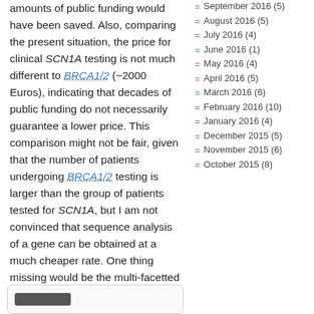amounts of public funding would have been saved. Also, comparing the present situation, the price for clinical SCN1A testing is not much different to BRCA1/2 (~2000 Euros), indicating that decades of public funding do not necessarily guarantee a lower price. This comparison might not be fair, given that the number of patients undergoing BRCA1/2 testing is larger than the group of patients tested for SCN1A, but I am not convinced that sequence analysis of a gene can be obtained at a much cheaper rate. One thing missing would be the multi-facetted research on SCN1A.
September 2016 (5)
August 2016 (5)
July 2016 (4)
June 2016 (1)
May 2016 (4)
April 2016 (5)
March 2016 (6)
February 2016 (10)
January 2016 (4)
December 2015 (5)
November 2015 (6)
October 2015 (8)
[Figure (other): Rounded box with dark bar element at bottom of left column]